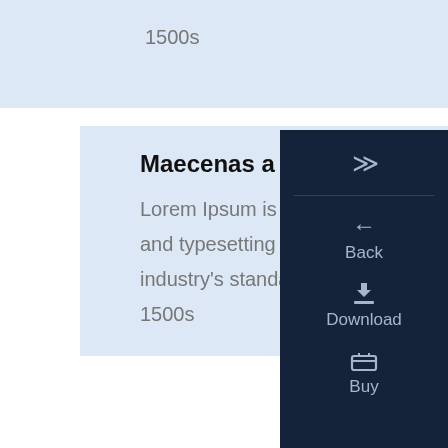1500s
Maecenas a diam sed dolor
Lorem Ipsum is simply dummy text of the printing and typesetting industry. Lorem Ipsum has been industry's standard dummy text ever since the 1500s
[Figure (screenshot): Dark sidebar navigation panel with chevron/forward button, Back button with left arrow icon, Download button with download icon, Buy button with cart icon, and scroll-up chevron at bottom]
[Figure (photo): Dark space scene with a glowing blue sphere/planet and light streaks, digital artwork]